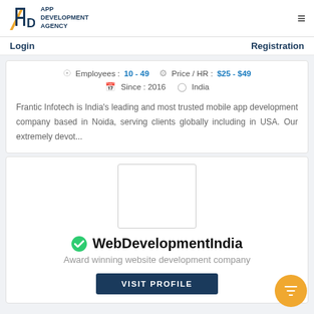APP DEVELOPMENT AGENCY
Login    Registration
Employees : 10 - 49   Price / HR : $25 - $49   Since : 2016   India
Frantic Infotech is India's leading and most trusted mobile app development company based in Noida, serving clients globally including in USA. Our extremely devot...
[Figure (logo): WebDevelopmentIndia company logo placeholder]
WebDevelopmentIndia
Award winning website development company
VISIT PROFILE